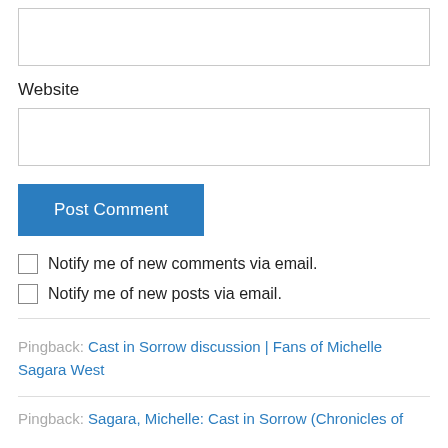[Figure (other): Empty text input field (no label visible, top of page)]
Website
[Figure (other): Empty Website text input field]
Post Comment
Notify me of new comments via email.
Notify me of new posts via email.
Pingback: Cast in Sorrow discussion | Fans of Michelle Sagara West
Pingback: Sagara, Michelle: Cast in Sorrow (Chronicles of